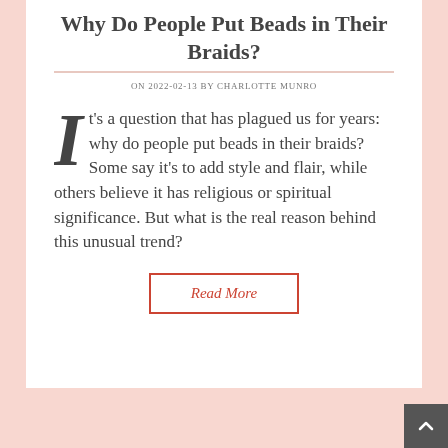Why Do People Put Beads in Their Braids?
ON 2022-02-13 BY CHARLOTTE MUNRO
It's a question that has plagued us for years: why do people put beads in their braids? Some say it's to add style and flair, while others believe it has religious or spiritual significance. But what is the real reason behind this unusual trend?
Read More